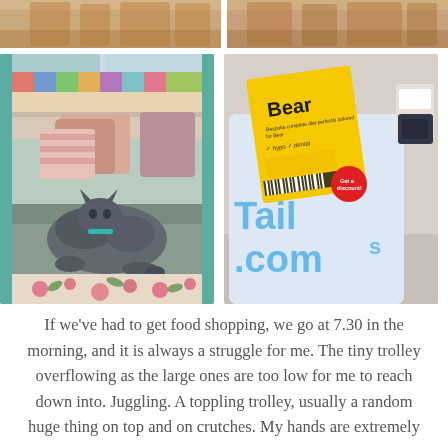[Figure (photo): Top cropped portion of two photos showing wicker baskets, partially visible at the top of the page]
[Figure (photo): A grey cat lying on cushions on a sofa near a window with a teal/green frame]
[Figure (photo): A Tails.com dog food bag with a yellow label reading 'Bear' attached to it]
If we've had to get food shopping, we go at 7.30 in the morning, and it is always a struggle for me. The tiny trolley overflowing as the large ones are too low for me to reach down into. Juggling. A toppling trolley, usually a random huge thing on top and on crutches. My hands are extremely